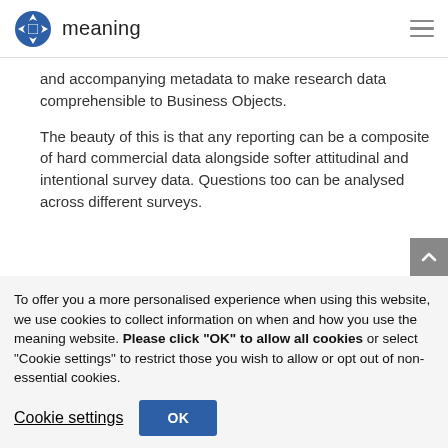meaning
and accompanying metadata to make research data comprehensible to Business Objects.
The beauty of this is that any reporting can be a composite of hard commercial data alongside softer attitudinal and intentional survey data. Questions too can be analysed across different surveys.
To offer you a more personalised experience when using this website, we use cookies to collect information on when and how you use the meaning website. Please click "OK" to allow all cookies or select "Cookie settings" to restrict those you wish to allow or opt out of non-essential cookies.
Cookie settings
OK